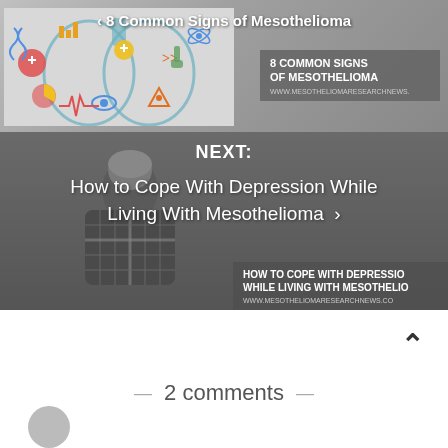[Figure (illustration): Previous article navigation block showing colorful medical/lung illustration with icons on the left and gray badge on the right reading '8 COMMON SIGNS OF MESOTHELIOMA' with website URL. Navigation link at top reads '< 8 Common Signs of Mesothelioma']
NEXT:
How to Cope With Depression While Living With Mesothelioma ›
[Figure (photo): Black and white photo of a person seen from behind, wearing a plaid shirt, sitting with head down, suggesting depression. Badge overlay reads 'HOW TO COPE WITH DEPRESSION WHILE LIVING WITH MESOTHELIOMA' and 'WWW.MESOTHELIOMARESEARCHNEWS.CO']
2 comments